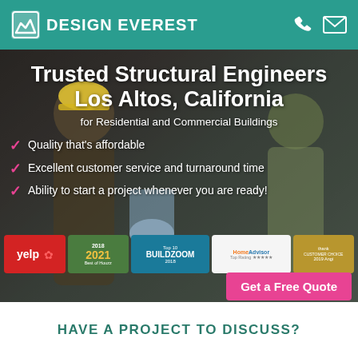DESIGN EVEREST
Trusted Structural Engineers Los Altos, California
for Residential and Commercial Buildings
Quality that's affordable
Excellent customer service and turnaround time
Ability to start a project whenever you are ready!
[Figure (infographic): Badge logos: Yelp, Angie's List 2018, Best of Houzz 2021, Top 10 Buildzoom 2018, HomeAdvisor top rating, Award badge]
Get a Free Quote
HAVE A PROJECT TO DISCUSS?